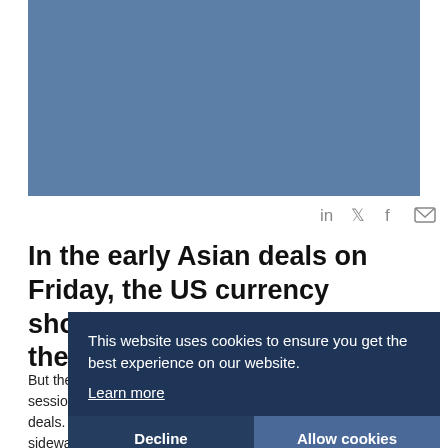[Figure (photo): Blue-toned image placeholder at top of article]
[Figure (other): Social sharing icons: LinkedIn, Twitter, Facebook, Email]
In the early Asian deals on Friday, the US currency showed choppy trading versus the Hungarian forint.
But the pair seemed to be gaining momentum at the end of the session and continued an uptrend during the early European deals. At about 3:05 am ET, the pair slid briefly and then moved sideways, but it ticked up again within three hours. As of now, the pair is trading at the 0.0012857 (rttnews.com)
This website uses cookies to ensure you get the best experience on our website. Learn more
Decline
Allow cookies